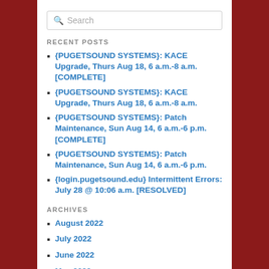Search
RECENT POSTS
{PUGETSOUND SYSTEMS}: KACE Upgrade, Thurs Aug 18, 6 a.m.-8 a.m. [COMPLETE]
{PUGETSOUND SYSTEMS}: KACE Upgrade, Thurs Aug 18, 6 a.m.-8 a.m.
{PUGETSOUND SYSTEMS}: Patch Maintenance, Sun Aug 14, 6 a.m.-6 p.m. [COMPLETE]
{PUGETSOUND SYSTEMS}: Patch Maintenance, Sun Aug 14, 6 a.m.-6 p.m.
{login.pugetsound.edu} Intermittent Errors: July 28 @ 10:06 a.m. [RESOLVED]
ARCHIVES
August 2022
July 2022
June 2022
May 2022